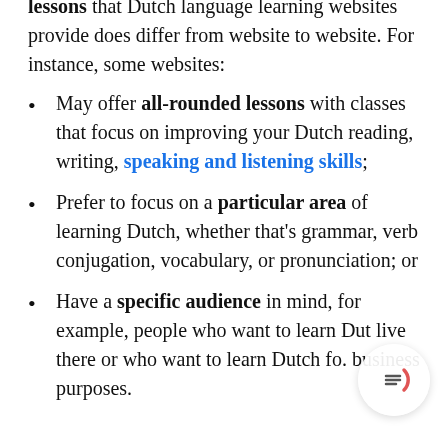lessons that Dutch language learning websites provide does differ from website to website. For instance, some websites:
May offer all-rounded lessons with classes that focus on improving your Dutch reading, writing, speaking and listening skills;
Prefer to focus on a particular area of learning Dutch, whether that's grammar, verb conjugation, vocabulary, or pronunciation; or
Have a specific audience in mind, for example, people who want to learn Dutch live there or who want to learn Dutch for business purposes.